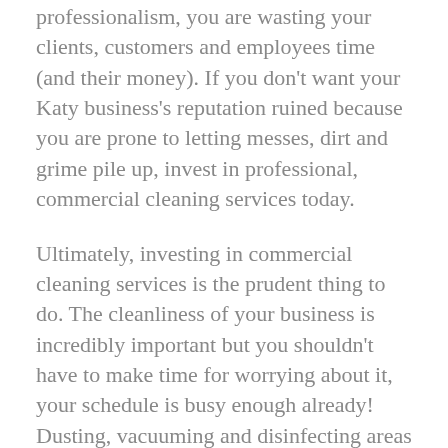professionalism, you are wasting your clients, customers and employees time (and their money). If you don't want your Katy business's reputation ruined because you are prone to letting messes, dirt and grime pile up, invest in professional, commercial cleaning services today.
Ultimately, investing in commercial cleaning services is the prudent thing to do. The cleanliness of your business is incredibly important but you shouldn't have to make time for worrying about it, your schedule is busy enough already! Dusting, vacuuming and disinfecting areas where germs breed need to be done regularly to make your commercial space presentable, but these tasks don't belong on your plate. But you know who can do it for you? The commercial cleaning